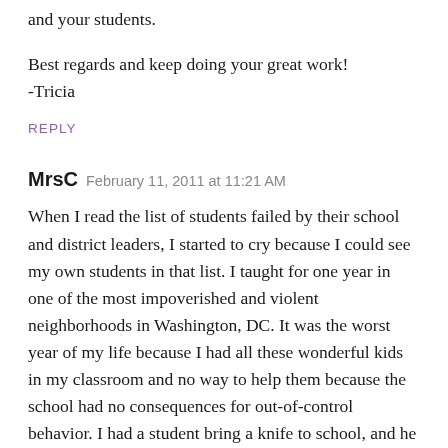and your students.

Best regards and keep doing your great work!
-Tricia
REPLY
MrsC  February 11, 2011 at 11:21 AM
When I read the list of students failed by their school and district leaders, I started to cry because I could see my own students in that list. I taught for one year in one of the most impoverished and violent neighborhoods in Washington, DC. It was the worst year of my life because I had all these wonderful kids in my classroom and no way to help them because the school had no consequences for out-of-control behavior. I had a student bring a knife to school, and he wasn't suspended, not even for one day. My heart was so broken after that year, my idealism so comletely crushed, that I couldn't go back. Whenever I think about my students, what they must be going through right now, I feel sick to my stomach. I was able to leave it behind. They don't get that choice.